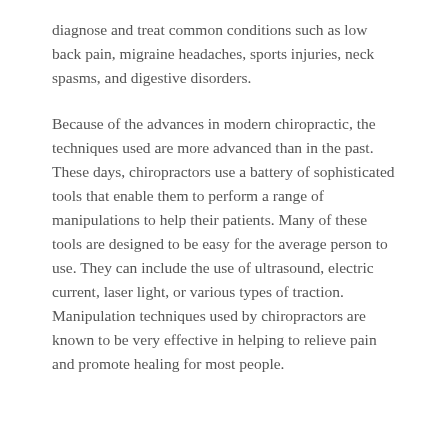diagnose and treat common conditions such as low back pain, migraine headaches, sports injuries, neck spasms, and digestive disorders.
Because of the advances in modern chiropractic, the techniques used are more advanced than in the past. These days, chiropractors use a battery of sophisticated tools that enable them to perform a range of manipulations to help their patients. Many of these tools are designed to be easy for the average person to use. They can include the use of ultrasound, electric current, laser light, or various types of traction. Manipulation techniques used by chiropractors are known to be very effective in helping to relieve pain and promote healing for most people.